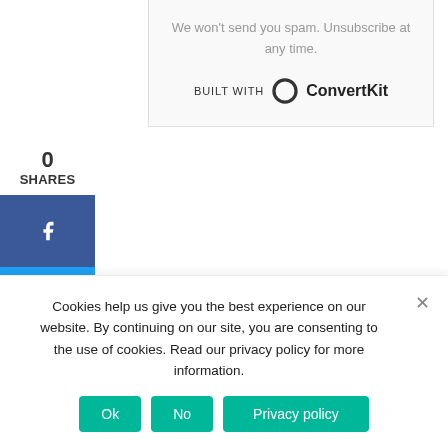We won't send you spam. Unsubscribe at any time.
[Figure (logo): BUILT WITH ConvertKit logo with circular icon]
0
SHARES
[Figure (infographic): Facebook share button (blue)]
[Figure (infographic): Twitter share button (light blue)]
[Figure (infographic): Pinterest share button (red)]
← Knock, Knock
Noah's Rainbow →
Cookies help us give you the best experience on our website. By continuing on our site, you are consenting to the use of cookies. Read our privacy policy for more information.
Ok
No
Privacy policy